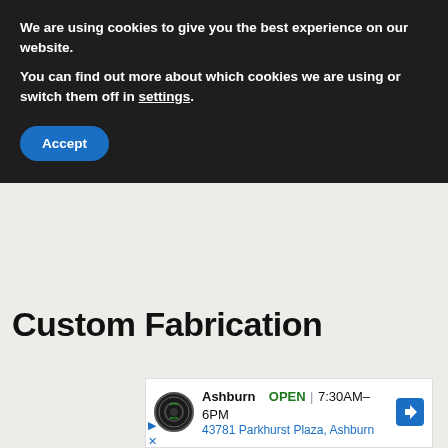We are using cookies to give you the best experience on our website.
You can find out more about which cookies we are using or switch them off in settings.
Accept
Custom Fabrication
[Figure (other): Advertisement card showing Tires Plus Auto store in Ashburn, OPEN 7:30AM-6PM, 43781 Parkhurst Plaza, Ashburn, with store logo and directions arrow icon]